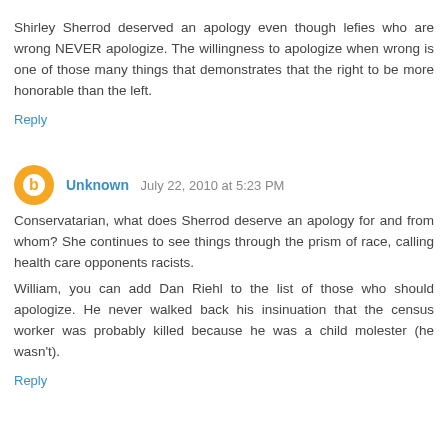Shirley Sherrod deserved an apology even though lefies who are wrong NEVER apologize. The willingness to apologize when wrong is one of those many things that demonstrates that the right to be more honorable than the left.
Reply
Unknown  July 22, 2010 at 5:23 PM
Conservatarian, what does Sherrod deserve an apology for and from whom? She continues to see things through the prism of race, calling health care opponents racists.
William, you can add Dan Riehl to the list of those who should apologize. He never walked back his insinuation that the census worker was probably killed because he was a child molester (he wasn't).
Reply